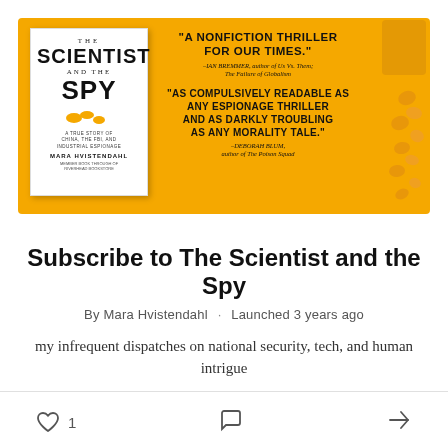[Figure (photo): Book cover of 'The Scientist and the Spy' by Mara Hvistendahl on a yellow/golden background with quotes praising the book and corn kernels scattered around.]
Subscribe to The Scientist and the Spy
By Mara Hvistendahl · Launched 3 years ago
my infrequent dispatches on national security, tech, and human intrigue